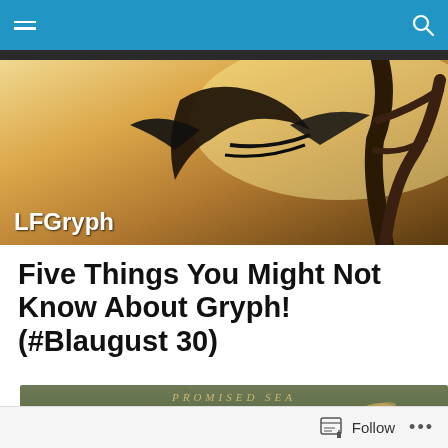LFGryph blog navigation bar
[Figure (illustration): Blog banner image with dark silhouette of a creature against a warm yellow-brown background with a tree. Text 'LFGryph' overlaid at bottom left.]
Five Things You Might Not Know About Gryph! (#Blaugust 30)
[Figure (screenshot): Map image showing 'PROMISED SEA' text at top, with map labels including 'ner's Vortex', 'Velten's Vortex', 'Fathomkin Hold', and 'Lork'.]
Follow ...